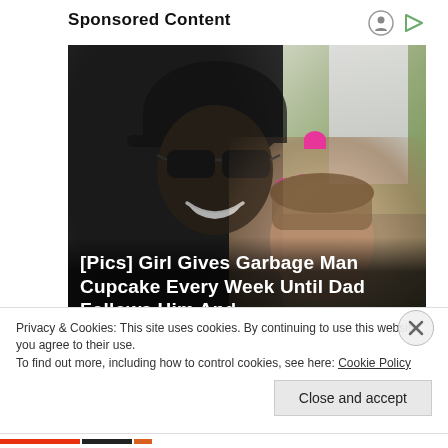Sponsored Content
[Figure (photo): Photo of a Black man wearing sunglasses and a black cap smiling with a young girl with a pink bow in her hair, with a white structure and green yard in background. Overlay text reads '[Pics] Girl Gives Garbage Man Cupcake Every Week Until Dad Follows Him And...' with source 'HealthyGem']
Privacy & Cookies: This site uses cookies. By continuing to use this website, you agree to their use.
To find out more, including how to control cookies, see here: Cookie Policy
Close and accept